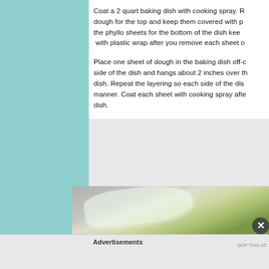Coat a 2 quart baking dish with cooking spray. R... dough for the top and keep them covered with p... the phyllo sheets for the bottom of the dish kee... with plastic wrap after you remove each sheet o...
Place one sheet of dough in the baking dish off-c... side of the dish and hangs about 2 inches over th... dish. Repeat the layering so each side of the dis... manner. Coat each sheet with cooking spray afte... dish.
[Figure (photo): Photo of phyllo dough wrapped in plastic wrap on a granite-like surface, with green leafy filling visible underneath.]
Advertisements